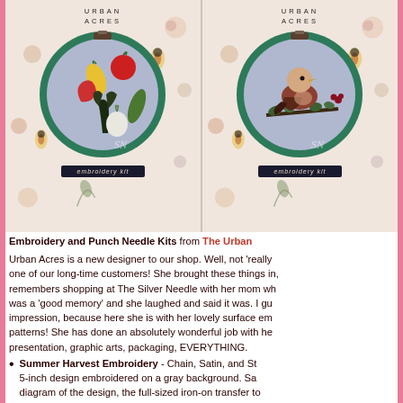[Figure (photo): Two Urban Acres embroidery kit packages side by side, each showing a circular embroidery hoop design on a floral background. Left kit shows vegetables design, right kit shows a bird on a branch design. Both labeled 'embroidery kit' on a dark banner.]
Embroidery and Punch Needle Kits from The Urban Acres is a new designer to our shop. Well, not 'really one of our long-time customers! She brought these things in, remembers shopping at The Silver Needle with her mom wh was a 'good memory' and she laughed and said it was. I gu impression, because here she is with her lovely surface em patterns! She has done an absolutely wonderful job with he presentation, graphic arts, packaging, EVERYTHING.
Summer Harvest Embroidery - Chain, Satin, and St 5-inch design embroidered on a gray background. Sa diagram of the design, the full-sized iron-on transfer to base fabric. 7 Full skeins of DMC floss are included as